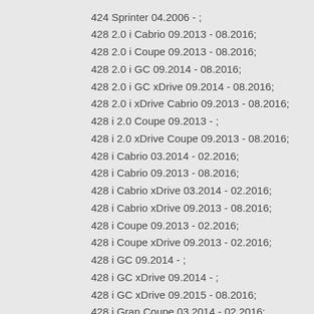424 Sprinter 04.2006 - ;
428 2.0 i Cabrio 09.2013 - 08.2016;
428 2.0 i Coupe 09.2013 - 08.2016;
428 2.0 i GC 09.2014 - 08.2016;
428 2.0 i GC xDrive 09.2014 - 08.2016;
428 2.0 i xDrive Cabrio 09.2013 - 08.2016;
428 i 2.0 Coupe 09.2013 - ;
428 i 2.0 xDrive Coupe 09.2013 - 08.2016;
428 i Cabrio 03.2014 - 02.2016;
428 i Cabrio 09.2013 - 08.2016;
428 i Cabrio xDrive 03.2014 - 02.2016;
428 i Cabrio xDrive 09.2013 - 08.2016;
428 i Coupe 09.2013 - 02.2016;
428 i Coupe xDrive 09.2013 - 02.2016;
428 i GC 09.2014 - ;
428 i GC xDrive 09.2014 - ;
428 i GC xDrive 09.2015 - 08.2016;
428 i Gran Coupe 03.2014 - 02.2016;
428 i Gran Coupe xDrive 03.2014 - 02.2016;
435 i Coupe xDrive 09.2013 - 02.2016;